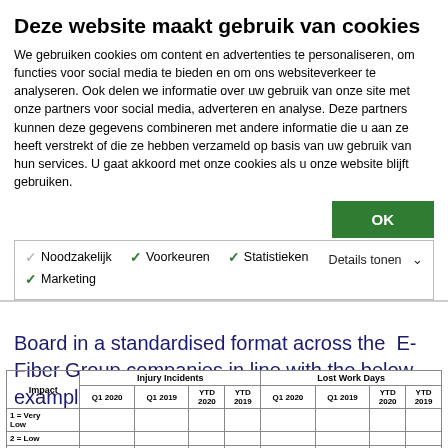Deze website maakt gebruik van cookies
We gebruiken cookies om content en advertenties te personaliseren, om functies voor social media te bieden en om ons websiteverkeer te analyseren. Ook delen we informatie over uw gebruik van onze site met onze partners voor social media, adverteren en analyse. Deze partners kunnen deze gegevens combineren met andere informatie die u aan ze heeft verstrekt of die ze hebben verzameld op basis van uw gebruik van hun services. U gaat akkoord met onze cookies als u onze website blijft gebruiken.
OK
Noodzakelijk  Voorkeuren  Statistieken  Marketing  Details tonen
Board in a standardised format across the E-Fiber Group companies in line with the below example.
| Impact | Injury Incidents Q1 2020 | Injury Incidents Q1 2019 | Injury Incidents YTD 2020 | Injury Incidents YTD 2019 | Lost Work Days Q1 2020 | Lost Work Days Q1 2019 | Lost Work Days YTD 2020 | Lost Work Days YTD 2019 |
| --- | --- | --- | --- | --- | --- | --- | --- | --- |
| 1 = Very Low |  |  |  |  |  |  |  |  |
| 2 = Low |  |  |  |  |  |  |  |  |
| 3 = Medium |  |  |  |  |  |  |  |  |
| 4 = High |  |  |  |  |  |  |  |  |